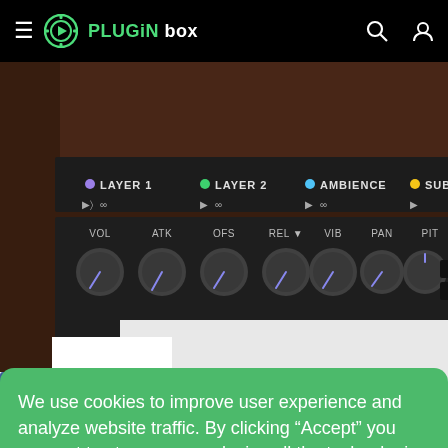Plugin Box
[Figure (screenshot): Screenshot of a synthesizer plugin UI showing Layer 1, Layer 2, Ambience, and Sub-S tabs with VOL, ATK, OFS, REL, VIB, PAN, PIT knobs]
[Figure (screenshot): Facebook share button (blue square with white f)]
We use cookies to improve user experience and analyze website traffic. By clicking “Accept” you consent to store on your device all the technologies described in the cookie policy.
Learn more
ACCEPT
uired.